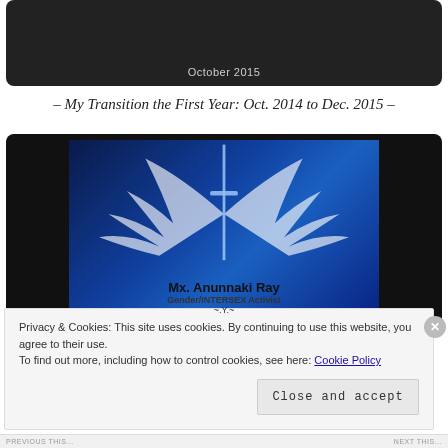[Figure (screenshot): Video thumbnail showing a person, with 'October 2015' text overlay, dark background]
– My Transition the First Year: Oct. 2014 to Dec. 2015 –
[Figure (screenshot): Video thumbnail with wings and sword image on blue background. Text: 'Mx. Anunnaki Ray Gender/INTERSEX Activist ~.Y.~']
Privacy & Cookies: This site uses cookies. By continuing to use this website, you agree to their use.
To find out more, including how to control cookies, see here: Cookie Policy
Close and accept
PREVIOUS THIS... NEXT THIS...